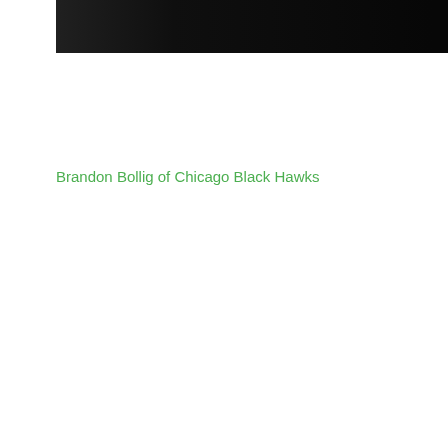[Figure (photo): Dark/black photographic strip at the top of the page, showing a nearly black image]
Brandon Bollig of Chicago Black Hawks